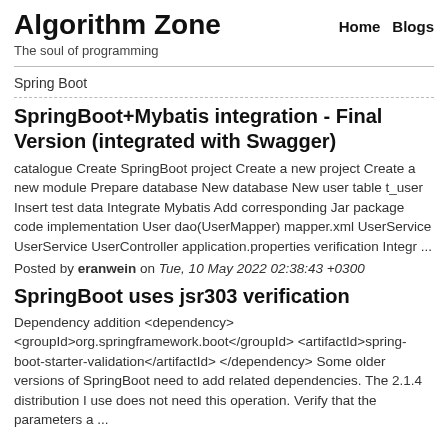Algorithm Zone
The soul of programming
Home   Blogs
Spring Boot
SpringBoot+Mybatis integration - Final Version (integrated with Swagger)
catalogue Create SpringBoot project Create a new project Create a new module Prepare database New database New user table t_user Insert test data Integrate Mybatis Add corresponding Jar package code implementation User dao(UserMapper) mapper.xml UserService UserService UserController application.properties verification Integr ...
Posted by eranwein on Tue, 10 May 2022 02:38:43 +0300
SpringBoot uses jsr303 verification
Dependency addition <dependency> <groupId>org.springframework.boot</groupId> <artifactId>spring-boot-starter-validation</artifactId> </dependency> Some older versions of SpringBoot need to add related dependencies. The 2.1.4 distribution I use does not need this operation. Verify that the parameters a ...